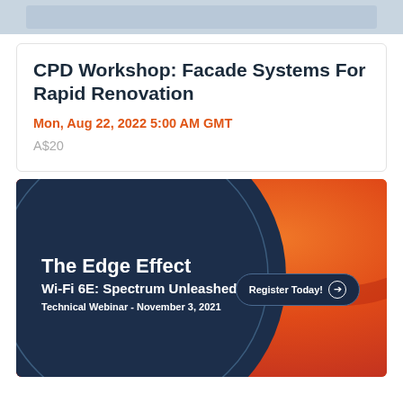[Figure (screenshot): Top banner gray placeholder image strip]
CPD Workshop: Facade Systems For Rapid Renovation
Mon, Aug 22, 2022 5:00 AM GMT
A$20
[Figure (infographic): The Edge Effect Wi-Fi 6E: Spectrum Unleashed Technical Webinar - November 3, 2021 promotional banner with dark navy circle on red/orange gradient background and Register Today button]